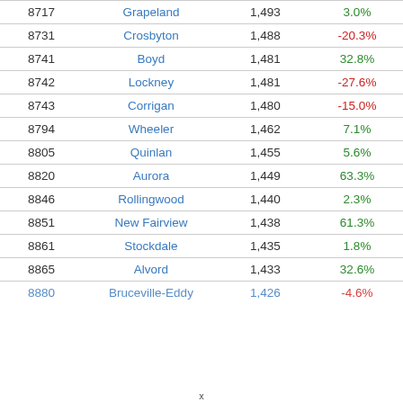| Rank | City | Population | Change |
| --- | --- | --- | --- |
| 8717 | Grapeland | 1,493 | 3.0% |
| 8731 | Crosbyton | 1,488 | -20.3% |
| 8741 | Boyd | 1,481 | 32.8% |
| 8742 | Lockney | 1,481 | -27.6% |
| 8743 | Corrigan | 1,480 | -15.0% |
| 8794 | Wheeler | 1,462 | 7.1% |
| 8805 | Quinlan | 1,455 | 5.6% |
| 8820 | Aurora | 1,449 | 63.3% |
| 8846 | Rollingwood | 1,440 | 2.3% |
| 8851 | New Fairview | 1,438 | 61.3% |
| 8861 | Stockdale | 1,435 | 1.8% |
| 8865 | Alvord | 1,433 | 32.6% |
| 8880 | Bruceville-Eddy | 1,426 | -4.6% |
x